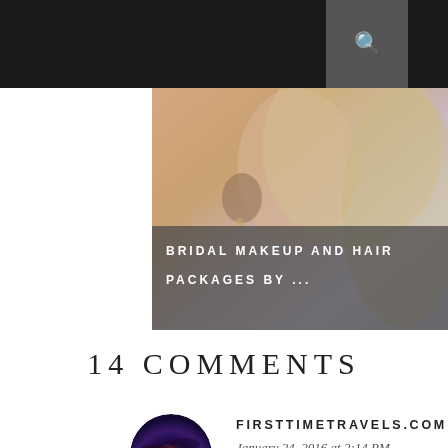[Figure (photo): Bridal photo — close-up of a woman with blonde hair, wearing earrings, with a semi-transparent dark overlay showing the caption 'BRIDAL MAKEUP AND HAIR PACKAGES BY ...']
14 COMMENTS
[Figure (photo): Circular avatar photo of a sunset with orange and dark cloud tones, attributed to firsttimetravels.com]
FIRSTTIMETRAVELS.COM
January 24, 2016 at 2:14 PM
It's good to have activities like this that promote a